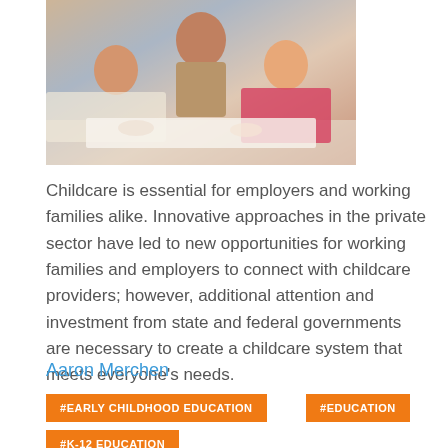[Figure (photo): A teacher or caregiver helping two young children with an activity at a table]
Childcare is essential for employers and working families alike. Innovative approaches in the private sector have led to new opportunities for working families and employers to connect with childcare providers; however, additional attention and investment from state and federal governments are necessary to create a childcare system that meets everyone's needs.
Aaron Merchen
#EARLY CHILDHOOD EDUCATION
#EDUCATION
#K-12 EDUCATION